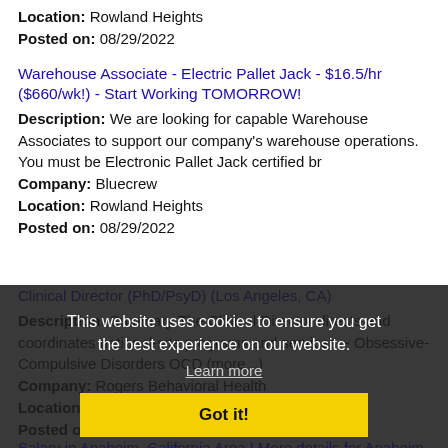Location: Rowland Heights
Posted on: 08/29/2022
Warehouse Associate - Electric Pallet Jack - $16.5/hr ($660/wk!) - Start Working TOMORROW!
Description: We are looking for capable Warehouse Associates to support our company's warehouse operations. You must be Electronic Pallet Jack certified br
Company: Bluecrew
Location: Rowland Heights
Posted on: 08/29/2022
Clinical Director (PhD/PsyD) (Los Angeles, CA)
Description: Summary:The Clinical Director directs and coordinates national-site programs and services. - Obsessive-Compulsive Disorders OCD (more...)
Company: Rogers Behavioral Health
Location: San Gabriel
Posted on: 08/29/2022
This website uses cookies to ensure you get the best experience on our website.
Learn more
Got it!
Salary in Anaheim, California Area | More details for Anaheim, California Jobs |Salary